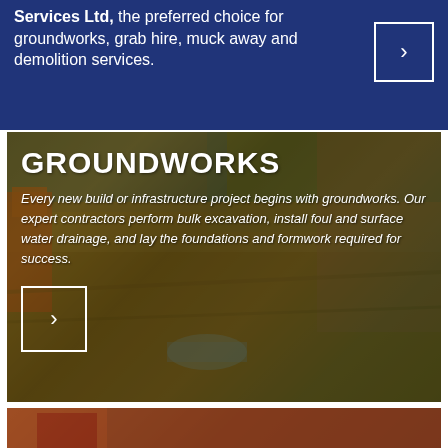Services Ltd, the preferred choice for groundworks, grab hire, muck away and demolition services.
[Figure (photo): Construction groundworks site photo showing excavation with an orange excavator, exposed soil, drainage pipes, and brick wall background with trees]
GROUNDWORKS
Every new build or infrastructure project begins with groundworks. Our expert contractors perform bulk excavation, install foul and surface water drainage, and lay the foundations and formwork required for success.
[Figure (photo): Partial view of another construction site section at bottom of page]